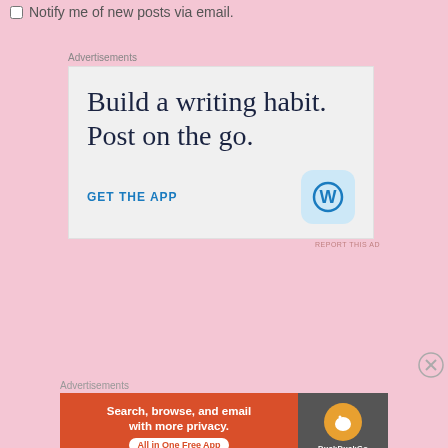Notify me of new posts via email.
Advertisements
[Figure (screenshot): WordPress app advertisement: 'Build a writing habit. Post on the go.' with GET THE APP link and WordPress logo icon]
REPORT THIS AD
Advertisements
[Figure (screenshot): DuckDuckGo advertisement: 'Search, browse, and email with more privacy. All in One Free App' with DuckDuckGo logo]